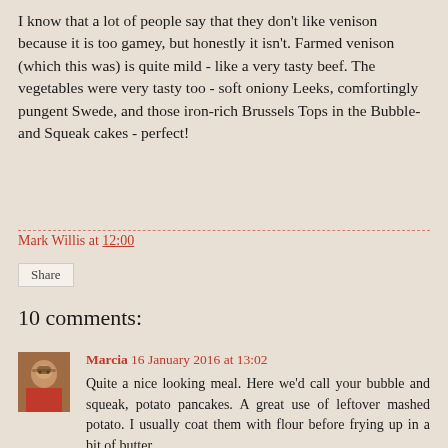I know that a lot of people say that they don't like venison because it is too gamey, but honestly it isn't. Farmed venison (which this was) is quite mild - like a very tasty beef. The vegetables were very tasty too  - soft oniony Leeks, comfortingly pungent Swede, and those iron-rich Brussels Tops in the Bubble-and Squeak cakes - perfect!
Mark Willis at 12:00
Share
10 comments:
[Figure (photo): Small avatar photo of commenter Marcia, showing a woman with glasses]
Marcia 16 January 2016 at 13:02
Quite a nice looking meal. Here we'd call your bubble and squeak, potato pancakes. A great use of leftover mashed potato. I usually coat them with flour before frying up in a bit of butter.
Reply